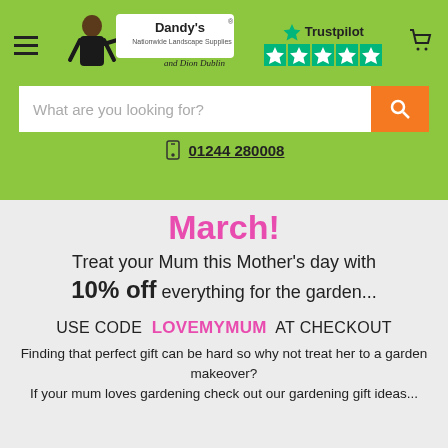[Figure (screenshot): Dandy's Nationwide Landscape Supplies website header with logo featuring Dion Dublin, green background, Trustpilot rating stars, shopping cart icon, hamburger menu]
What are you looking for?
01244 280008
March!
Treat your Mum this Mother's day with 10% off everything for the garden...
USE CODE  LOVEMYMUM  AT CHECKOUT
Finding that perfect gift can be hard so why not treat her to a garden makeover?
If your mum loves gardening check out our gardening gift ideas...